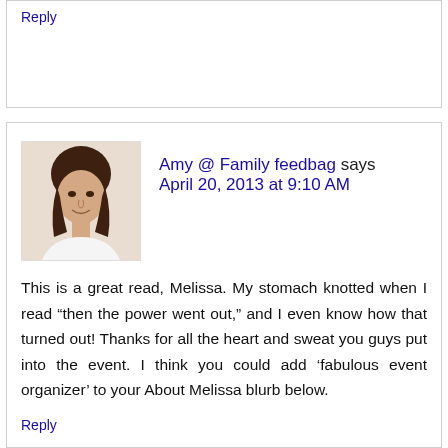Reply
Amy @ Family feedbag says
April 20, 2013 at 9:10 AM
[Figure (photo): Profile photo of Amy, a woman with dark hair, smiling]
This is a great read, Melissa. My stomach knotted when I read “then the power went out,” and I even know how that turned out! Thanks for all the heart and sweat you guys put into the event. I think you could add ‘fabulous event organizer’ to your About Melissa blurb below.
Reply